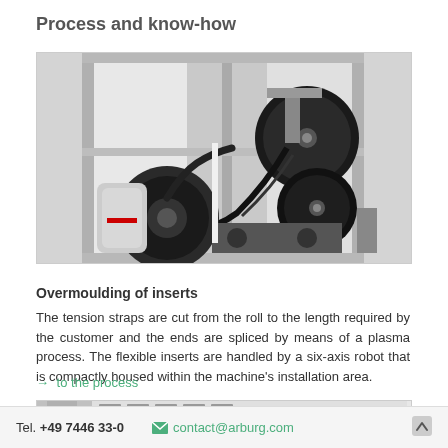Process and know-how
[Figure (photo): Industrial automation equipment showing a six-axis robot arm with cable management reels mounted on a frame, used for overmoulding of tension strap inserts.]
Overmoulding of inserts
The tension straps are cut from the roll to the length required by the customer and the ends are spliced by means of a plasma process. The flexible inserts are handled by a six-axis robot that is compactly housed within the machine's installation area.
→ to the process
[Figure (screenshot): Partial screenshot of a software interface or website, showing a toolbar and a partial view of a person.]
Tel. +49 7446 33-0   contact@arburg.com